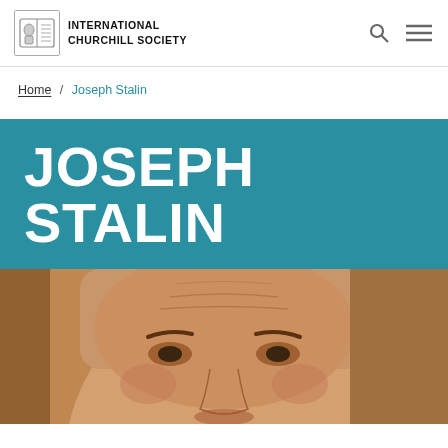INTERNATIONAL CHURCHILL SOCIETY
Home / Joseph Stalin
JOSEPH STALIN
[Figure (photo): Close-up portrait photo of an elderly man with prominent wrinkles and a furrowed brow, shown from the forehead to mid-face, against a warm brownish background.]